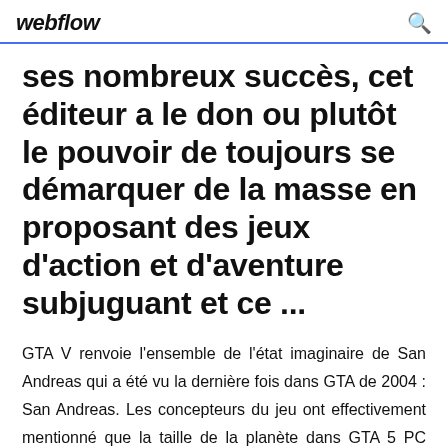webflow
ses nombreux succès, cet éditeur a le don ou plutôt le pouvoir de toujours se démarquer de la masse en proposant des jeux d'action et d'aventure subjuguant et ce ...
GTA V renvoie l'ensemble de l'état imaginaire de San Andreas qui a été vu la dernière fois dans GTA de 2004 : San Andreas. Les concepteurs du jeu ont effectivement mentionné que la taille de la planète dans GTA 5 PC sera certainement plus grand que les masses intégrées du jeux Rockstar Red Dead